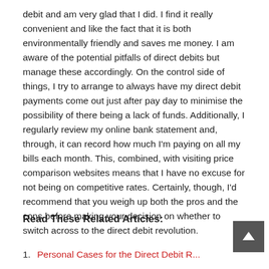debit and am very glad that I did. I find it really convenient and like the fact that it is both environmentally friendly and saves me money. I am aware of the potential pitfalls of direct debits but manage these accordingly. On the control side of things, I try to arrange to always have my direct debit payments come out just after pay day to minimise the possibility of there being a lack of funds. Additionally, I regularly review my online bank statement and, through, it can record how much I'm paying on all my bills each month. This, combined, with visiting price comparison websites means that I have no excuse for not being on competitive rates. Certainly, though, I'd recommend that you weigh up both the pros and the cons before making your decision on whether to switch across to the direct debit revolution.
Read These Related Articles:
1. Personal Cases for the Direct Debit R…